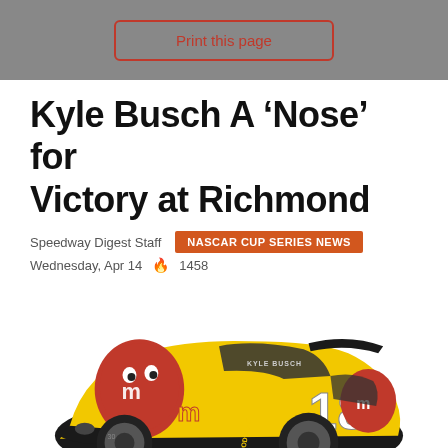Print this page
Kyle Busch A ‘Nose’ for Victory at Richmond
Speedway Digest Staff   NASCAR CUP SERIES NEWS
Wednesday, Apr 14   1458
[Figure (photo): Kyle Busch #18 M&M's Toyota Camry NASCAR Cup Series race car with yellow and red M&M's livery featuring the M&M characters on the hood and doors]